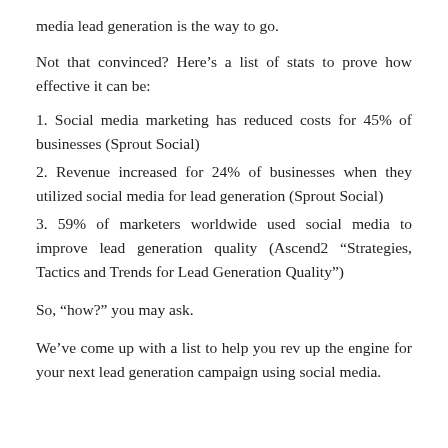media lead generation is the way to go.
Not that convinced? Here's a list of stats to prove how effective it can be:
1. Social media marketing has reduced costs for 45% of businesses (Sprout Social)
2. Revenue increased for 24% of businesses when they utilized social media for lead generation (Sprout Social)
3. 59% of marketers worldwide used social media to improve lead generation quality (Ascend2 “Strategies, Tactics and Trends for Lead Generation Quality”)
So, “how?” you may ask.
We’ve come up with a list to help you rev up the engine for your next lead generation campaign using social media.